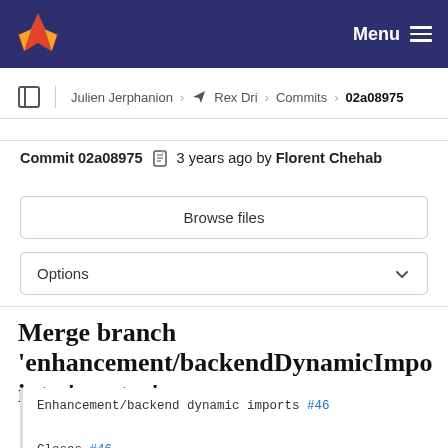GitLab — Menu
Julien Jerphanion › Rex Dri › Commits › 02a08975
Commit 02a08975  3 years ago by Florent Chehab
Browse files
Options
Merge branch 'enhancement/backendDynamicImpo into 'master'
Enhancement/backend dynamic imports #46

Closes #46

See merge request !63